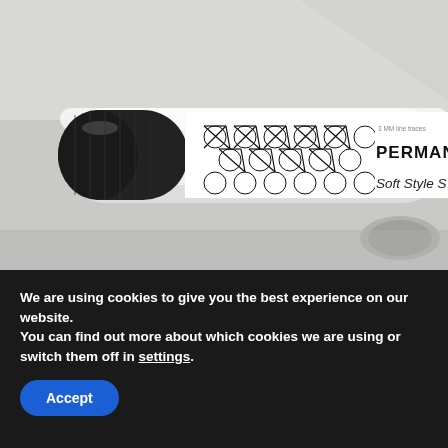[Figure (photo): Close-up photo of a permanent marker pen with a black cap visible on the left side. The marker body is white with a geometric pattern (interlocking circles and triangles/stars). Text on the label reads 'PERMANENT M...' and 'Soft Style ...' partially visible. Background is a light grey/white surface.]
We are using cookies to give you the best experience on our website.
You can find out more about which cookies we are using or switch them off in settings.
Accept